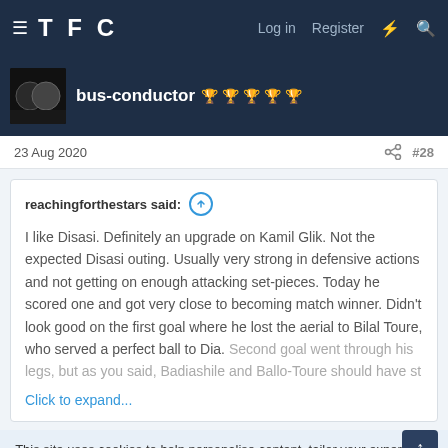TFC  Log in  Register
bus-conductor
23 Aug 2020  #28
reachingforthestars said: I like Disasi. Definitely an upgrade on Kamil Glik. Not the expected Disasi outing. Usually very strong in defensive actions and not getting on enough attacking set-pieces. Today he scored one and got very close to becoming match winner. Didn't look good on the first goal where he lost the aerial to Bilal Toure, who served a perfect ball to Dia. Second goal went through his legs, but as you said, Badiashile and Ballo-Toure should have... Click to expand...
This site uses cookies to help personalise content, tailor your experience and to keep you logged in if you register.
By continuing to use this site, you are consenting to our use of cookies.
✓ ACCEPT   LEARN MORE...